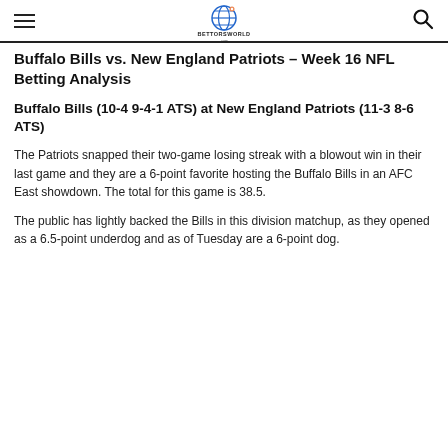BettorsWorld
Buffalo Bills vs. New England Patriots – Week 16 NFL Betting Analysis
Buffalo Bills (10-4 9-4-1 ATS) at New England Patriots (11-3 8-6 ATS)
The Patriots snapped their two-game losing streak with a blowout win in their last game and they are a 6-point favorite hosting the Buffalo Bills in an AFC East showdown. The total for this game is 38.5.
The public has lightly backed the Bills in this division matchup, as they opened as a 6.5-point underdog and as of Tuesday are a 6-point dog.